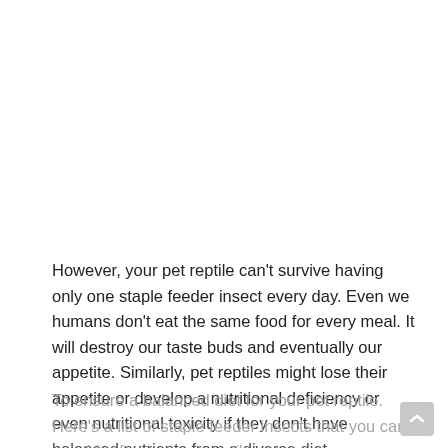However, your pet reptile can't survive having only one staple feeder insect every day. Even we humans don't eat the same food for every meal. It will destroy our taste buds and eventually our appetite. Similarly, pet reptiles might lose their appetite or develop a nutritional deficiency or even nutritional toxicity if they don't have balanced nutrients from a diverse diet.
To ensure a balanced diet for your pet reptile. Here's a list of staple feeder insects that you can consider for your pet reptile.